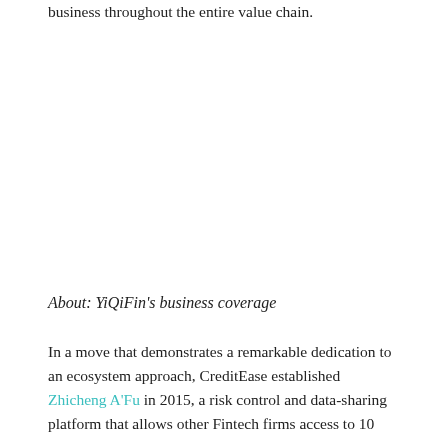business throughout the entire value chain.
About: YiQiFin's business coverage
In a move that demonstrates a remarkable dedication to an ecosystem approach, CreditEase established Zhicheng A'Fu in 2015, a risk control and data-sharing platform that allows other Fintech firms access to 10